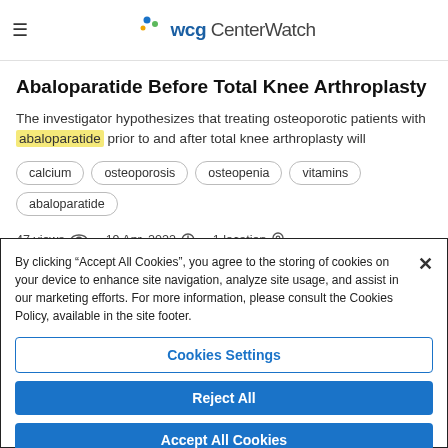WCG CenterWatch
Abaloparatide Before Total Knee Arthroplasty
The investigator hypothesizes that treating osteoporotic patients with abaloparatide prior to and after total knee arthroplasty will
calcium
osteoporosis
osteopenia
vitamins
abaloparatide
47 views   19 Apr, 2022   1 location
By clicking “Accept All Cookies”, you agree to the storing of cookies on your device to enhance site navigation, analyze site usage, and assist in our marketing efforts. For more information, please consult the Cookies Policy, available in the site footer.
Cookies Settings
Reject All
Accept All Cookies